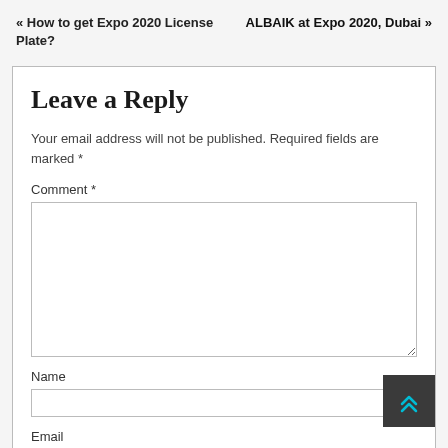« How to get Expo 2020 License Plate?
ALBAIK at Expo 2020, Dubai »
Leave a Reply
Your email address will not be published. Required fields are marked *
Comment *
Name
Email